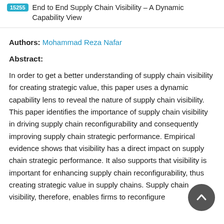15255 End to End Supply Chain Visibility – A Dynamic Capability View
Authors: Mohammad Reza Nafar
Abstract:
In order to get a better understanding of supply chain visibility for creating strategic value, this paper uses a dynamic capability lens to reveal the nature of supply chain visibility. This paper identifies the importance of supply chain visibility in driving supply chain reconfigurability and consequently improving supply chain strategic performance. Empirical evidence shows that visibility has a direct impact on supply chain strategic performance. It also supports that visibility is important for enhancing supply chain reconfigurability, thus creating strategic value in supply chains. Supply chain visibility, therefore, enables firms to reconfigure